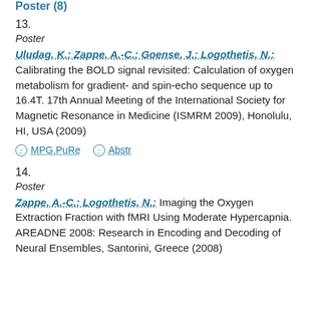Poster (8)
13.
Poster
Uludag, K.; Zappe, A.-C.; Goense, J.; Logothetis, N.: Calibrating the BOLD signal revisited: Calculation of oxygen metabolism for gradient- and spin-echo sequence up to 16.4T. 17th Annual Meeting of the International Society for Magnetic Resonance in Medicine (ISMRM 2009), Honolulu, HI, USA (2009)
MPG.PuRe   Abstr
14.
Poster
Zappe, A.-C.; Logothetis, N.: Imaging the Oxygen Extraction Fraction with fMRI Using Moderate Hypercapnia. AREADNE 2008: Research in Encoding and Decoding of Neural Ensembles, Santorini, Greece (2008)